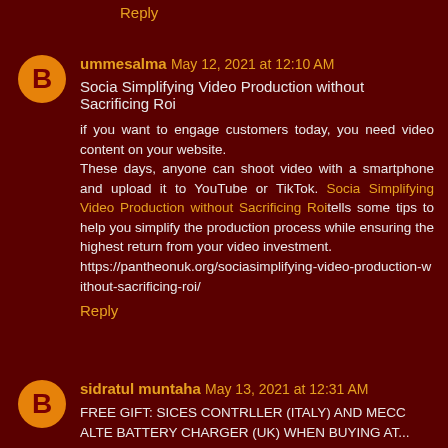Reply
ummesalma May 12, 2021 at 12:10 AM
Socia Simplifying Video Production without Sacrificing Roi

if you want to engage customers today, you need video content on your website.
These days, anyone can shoot video with a smartphone and upload it to YouTube or TikTok. Socia Simplifying Video Production without Sacrificing Roi tells some tips to help you simplify the production process while ensuring the highest return from your video investment.
https://pantheonuk.org/sociasimplifying-video-production-without-sacrificing-roi/
Reply
sidratul muntaha May 13, 2021 at 12:31 AM
FREE GIFT: SICES CONTRLLER (ITALY) AND MECC ALTE BATTERY CHARGER (UK) WHEN BUYING AT...